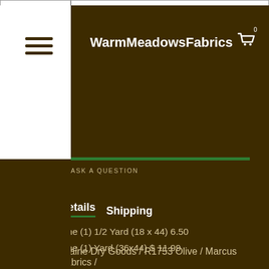WarmMeadowsFabrics
ASK A QUESTION
Details   Shipping
One (1) 1/2 Yard (18 x 44) 6.50
One (1) Yard (36x44) $ 11.99
***Multiple yardage will be a continuous cut***
Prairie Dry Goods / R1753 Olive / Marcus Fabrics /